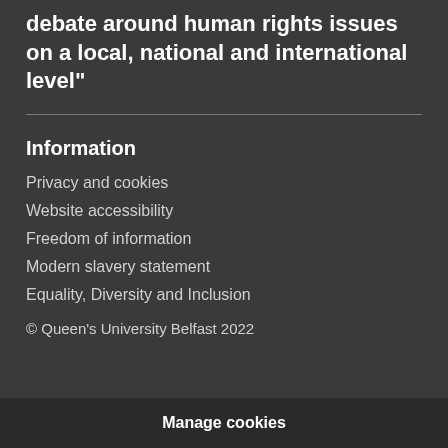debate around human rights issues on a local, national and international level"
Information
Privacy and cookies
Website accessibility
Freedom of information
Modern slavery statement
Equality, Diversity and Inclusion
© Queen's University Belfast 2022
Manage cookies